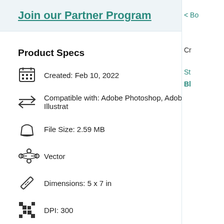Join our Partner Program
Product Specs
Created: Feb 10, 2022
Compatible with: Adobe Photoshop, Adobe Illustrat
File Size: 2.59 MB
Vector
Dimensions: 5 x 7 in
DPI: 300
Layered